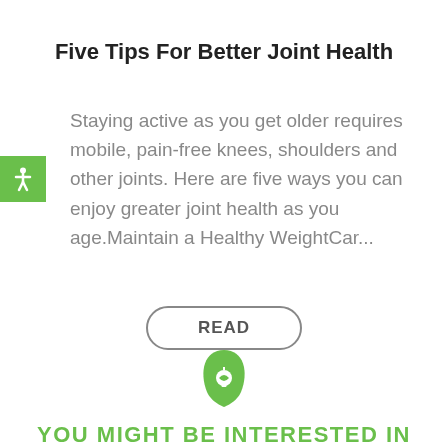Five Tips For Better Joint Health
Staying active as you get older requires mobile, pain-free knees, shoulders and other joints. Here are five ways you can enjoy greater joint health as you age.Maintain a Healthy WeightCar...
[Figure (illustration): Green square with white accessibility/person icon on left side of text]
READ
[Figure (logo): Green leaf icon with lightbulb symbol inside]
YOU MIGHT BE INTERESTED IN